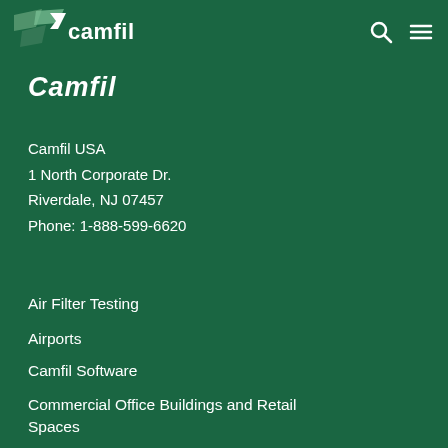Camfil [logo] [search icon] [menu icon]
Camfil
Camfil USA
1 North Corporate Dr.
Riverdale, NJ 07457
Phone: 1-888-599-6620
Air Filter Testing
Airports
Camfil Software
Commercial Office Buildings and Retail Spaces
HEPA Filters
City M Air Purifier for Homes